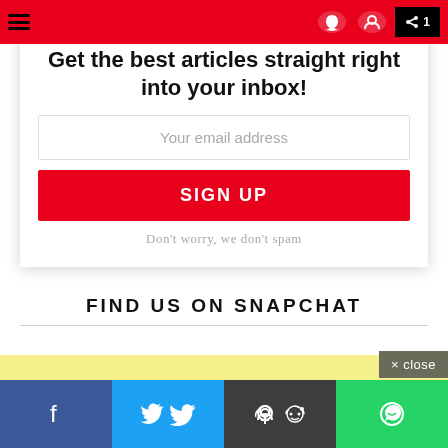Navigation bar with hamburger menu, social icons, and black box with share icon
into your inbox!
Your email address
SIGN UP
Don't worry, we don't spam
FIND US ON SNAPCHAT
[Figure (other): Yellow banner / advertisement area]
× close
Social share bar with Facebook, Twitter, Reddit, WhatsApp buttons